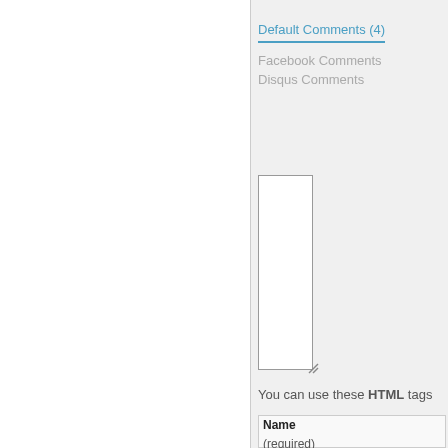Default Comments (4)
Facebook Comments
Disqus Comments
You can use these HTML tags
Name (required)